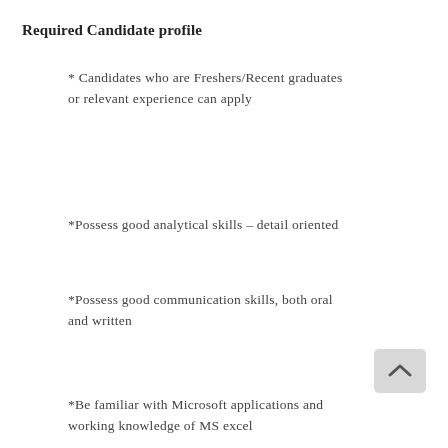Required Candidate profile
* Candidates who are Freshers/Recent graduates or relevant experience can apply
*Possess good analytical skills – detail oriented
*Possess good communication skills, both oral and written
*Be familiar with Microsoft applications and working knowledge of MS excel